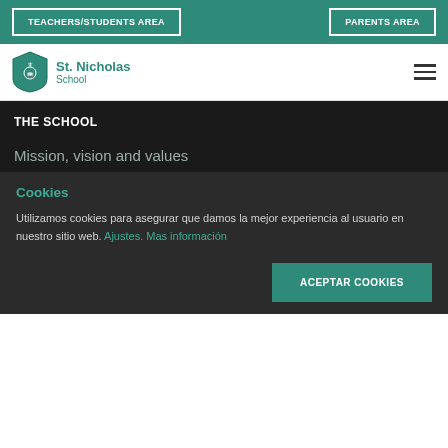TEACHERS/STUDENTS AREA | PARENTS AREA
[Figure (logo): St. Nicholas School shield logo with text 'St. Nicholas School']
THE SCHOOL
Mission, vision and values
Cookies
Utilizamos cookies para asegurar que damos la mejor experiencia al usuario en nuestro sitio web. Ajustes. Mas información
ACEPTAR COOKIES